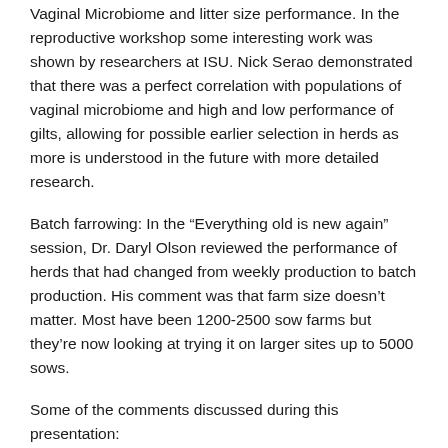Vaginal Microbiome and litter size performance. In the reproductive workshop some interesting work was shown by researchers at ISU. Nick Serao demonstrated that there was a perfect correlation with populations of vaginal microbiome and high and low performance of gilts, allowing for possible earlier selection in herds as more is understood in the future with more detailed research.
Batch farrowing: In the “Everything old is new again” session, Dr. Daryl Olson reviewed the performance of herds that had changed from weekly production to batch production. His comment was that farm size doesn’t matter. Most have been 1200-2500 sow farms but they’re now looking at trying it on larger sites up to 5000 sows.
Some of the comments discussed during this presentation:
Better sow performance (once everyone gets their head around the change)